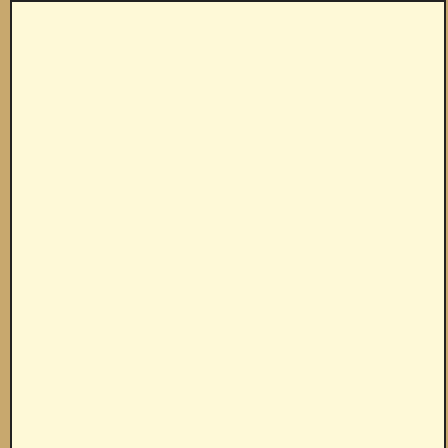[Figure (other): Cream/yellow advertisement or content box with black border, top-left sidebar area]
NEW REVIEWS
Acoustic Research Xsight Touch ARRX18G
Sony PlayStation 3 Advanced Control Roundup
Pinnacle PCTV HD Pro Stick HDTV Tuner
Universal Remote Control Inc. Digital R50
device completely from scratch (did n... all working perfectly, then when i wen... gone. So i re-learned it on the first try... that one as well. It happens kinda ran...
Randy
URC MX-890, MX-780, MX-450, R40, MX-9...
Arris DVR, Onkyo 333 AVR, Roku Express
[Figure (other): Just Add Power advertisement banner with black background and blue stripe]
View the original thread...
©1998-2022, Daniel Tonks. All rights reserved.
Home | News | Reviews | Features | ...